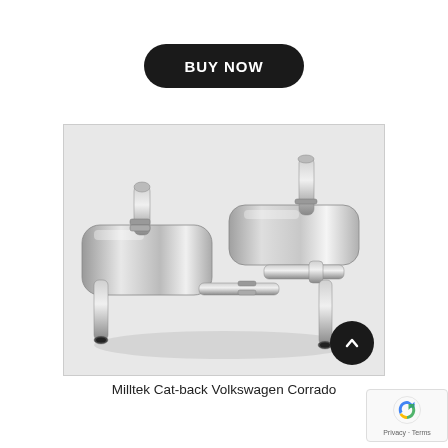BUY NOW
[Figure (photo): Milltek Cat-back exhaust system components for Volkswagen Corrado — polished stainless steel mufflers and pipes displayed on a white surface]
Milltek Cat-back Volkswagen Corrado